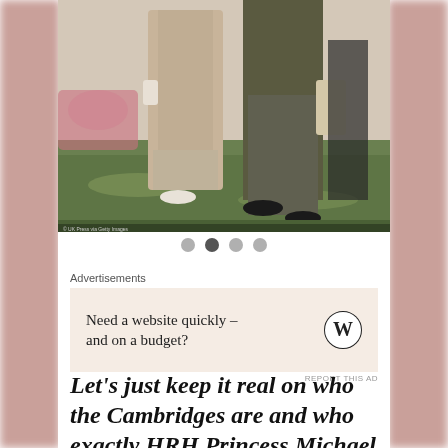[Figure (photo): Photo showing people walking on grass, cropped to show lower bodies — a woman in a beige coat and light shoes, a man in dark trousers and black dress shoes carrying a bag]
[Figure (other): Slideshow dot navigation indicator with 4 dots, second dot active/dark]
Advertisements
[Figure (other): Advertisement banner with beige background: 'Need a website quickly – and on a budget?' with WordPress logo]
REPORT THIS AD
Let's just keep it real on who the Cambridges are and who exactly HRH Princess Michael of Kent truly is. Her